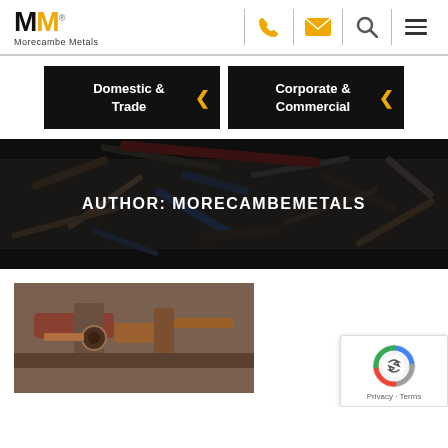Morecambe Metals - navigation header with logo, phone, email, search, and menu icons
Domestic & Trade
Corporate & Commercial
[Figure (photo): Hero banner showing a large pile of scrap metal, various metal beams and parts in dark tones, with overlay text 'AUTHOR: MORECAMBEMETALS']
AUTHOR: MORECAMBEMETALS
[Figure (photo): Article thumbnail image showing rusty metal machinery parts]
[Figure (other): Google reCAPTCHA badge with Privacy and Terms links]